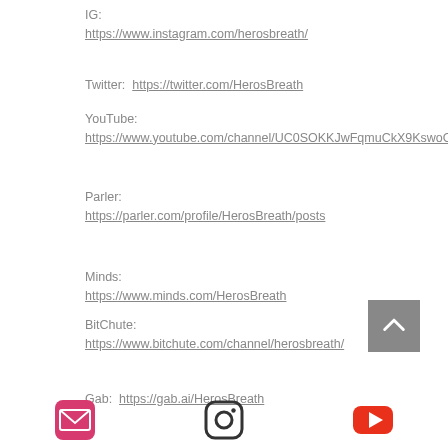IG:
https://www.instagram.com/herosbreath/
Twitter: https://twitter.com/HerosBreath
YouTube:
https://www.youtube.com/channel/UC0SOKKJwFqmuCkX9KswoOvw?
Parler:
https://parler.com/profile/HerosBreath/posts
Minds:
https://www.minds.com/HerosBreath
BitChute:
https://www.bitchute.com/channel/herosbreath/
Gab: https://gab.ai/HerosBreath
[Figure (infographic): Social media icon buttons at the bottom: email (pink), Instagram (dark outline), YouTube (red)]